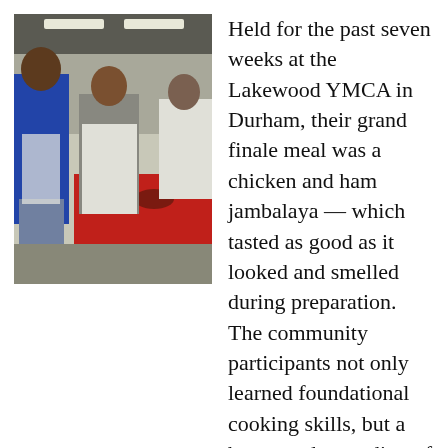[Figure (photo): Two men in aprons working at a table with red tablecloth and bowls during a cooking class at the Lakewood YMCA in Durham.]
Held for the past seven weeks at the Lakewood YMCA in Durham, their grand finale meal was a chicken and ham jambalaya — which tasted as good as it looked and smelled during preparation. The community participants not only learned foundational cooking skills, but a better understanding of how cooking for themselves at home can significantly impact their health and well-being. They also built a strong sense of camaraderie with one another.
One of our participants had never prepped or cooked a meal before in his life and has since started cooking for himself. Another participant had zero knife skills prior to participating and has been keeping the